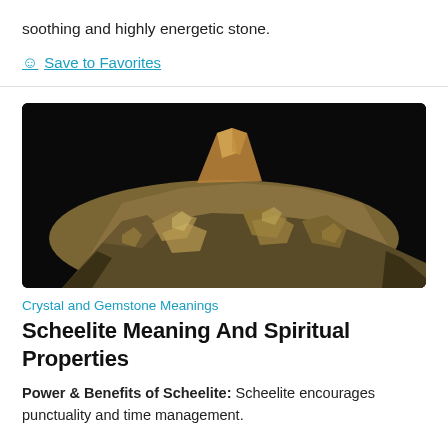soothing and highly energetic stone.
☺ Save to Favorites
[Figure (photo): Close-up photograph of a Scheelite mineral specimen against a black background. The mineral appears golden-brown and crystalline with rough, layered texture.]
Crystal and Gemstone Meanings
Scheelite Meaning And Spiritual Properties
Power & Benefits of Scheelite: Scheelite encourages punctuality and time management.